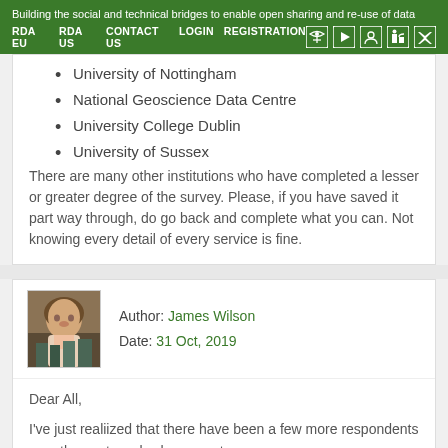Building the social and technical bridges to enable open sharing and re-use of data
RDA EU   RDA US   CONTACT US   LOGIN   REGISTRATION
University of Nottingham
National Geoscience Data Centre
University College Dublin
University of Sussex
There are many other institutions who have completed a lesser or greater degree of the survey. Please, if you have saved it part way through, do go back and complete what you can. Not knowing every detail of every service is fine.
Author: James Wilson
Date: 31 Oct, 2019
[Figure (photo): Headshot of James Wilson, a man with brown hair and beard, wearing a light pink shirt, in front of a bookshelf]
Dear All,

I've just realiized that there have been a few more respondents over the past week who are not